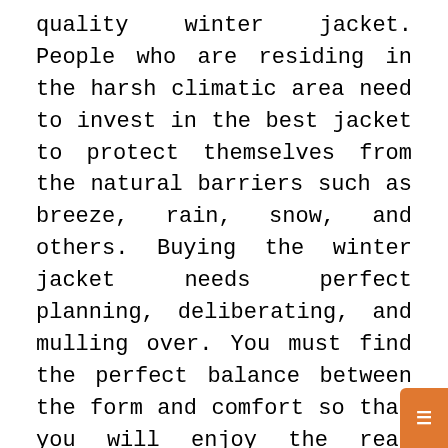quality winter jacket. People who are residing in the harsh climatic area need to invest in the best jacket to protect themselves from the natural barriers such as breeze, rain, snow, and others. Buying the winter jacket needs perfect planning, deliberating, and mulling over. You must find the perfect balance between the form and comfort so that you will enjoy the real benefits of it.
Based on the temperature of the place, which you reside or traveling to, you should go with the best jacket. If the temperature is a basic level, then invest on the jacket, which is the combination of wool and down. When it is less severe, you can go for a more fashion-forward alternative. Always try to avoid the super trends